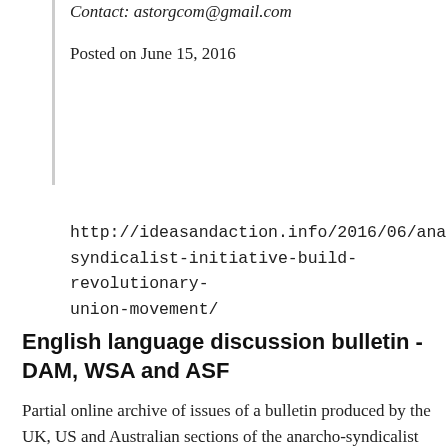Contact: astorgcom@gmail.com
Posted on June 15, 2016
http://ideasandaction.info/2016/06/anarcho-syndicalist-initiative-build-revolutionary-union-movement/
English language discussion bulletin - DAM, WSA and ASF
Partial online archive of issues of a bulletin produced by the UK, US and Australian sections of the anarcho-syndicalist International Workers Association, the Direct Action Movement, Workers Solidarity Alliance and Anarcho-Syndicalist Federation respectively, from